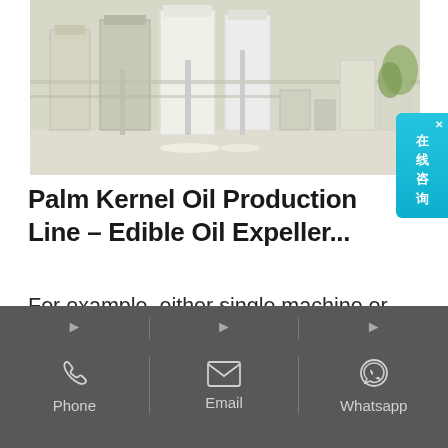[Figure (photo): Industrial oil processing equipment and machinery in a factory/production facility interior, showing tanks, pipes, and processing equipment with a light industrial setting]
Palm Kernel Oil Production Line – Edible Oil Expeller...
For example, either single machine or production line are both for sale. Our palm kernel oil production line's capacity is 10-100 tons per day and its residual oil rate is 5%, and we provide you with
[Figure (infographic): Dark footer navigation bar with three contact sections: Phone (phone icon), Email (envelope icon), Whatsapp (WhatsApp icon), separated by dividers, with arrow indicators at top]
Phone | Email | Whatsapp